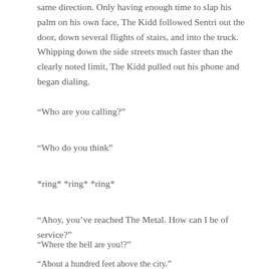same direction. Only having enough time to slap his palm on his own face, The Kidd followed Sentri out the door, down several flights of stairs, and into the truck. Whipping down the side streets much faster than the clearly noted limit, The Kidd pulled out his phone and began dialing.
“Who are you calling?”
“Who do you think”
*ring* *ring* *ring*
“Ahoy, you’ve reached The Metal. How can I be of service?”
“Where the hell are you!?”
“About a hundred feet above the city.”